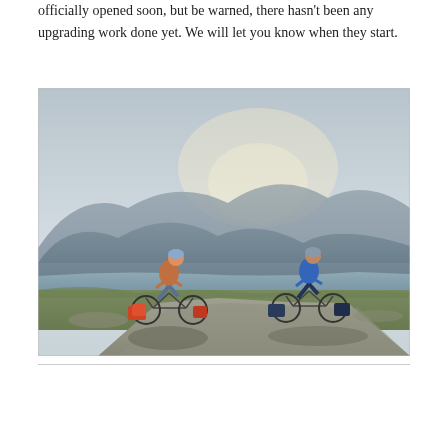officially opened soon, but be warned, there hasn't been any upgrading work done yet. We will let you know when they start.
[Figure (photo): Two cyclists with panniers riding on a gravel path beside a loch or lake, with misty mountains in the background and overcast sky.]